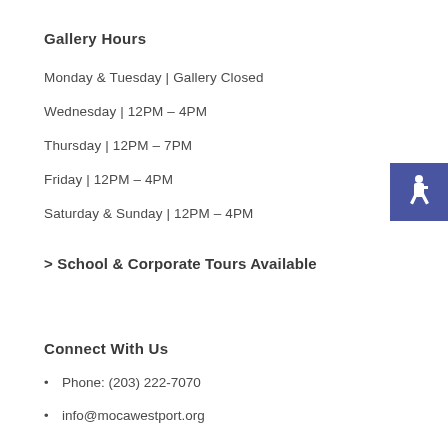Gallery Hours
Monday & Tuesday | Gallery Closed
Wednesday | 12PM – 4PM
Thursday | 12PM – 7PM
Friday | 12PM – 4PM
Saturday & Sunday | 12PM – 4PM
[Figure (infographic): Blue square with white accessibility wheelchair icon]
> School & Corporate Tours Available
Connect With Us
Phone: (203) 222-7070
info@mocawestport.org